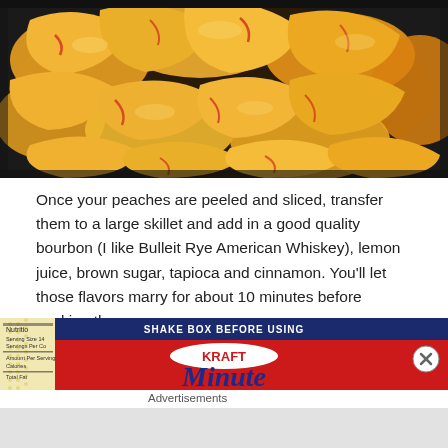[Figure (photo): Sliced peaches cooking in a large dark cast iron skillet, showing golden yellow peach slices with red blush marks in a syrupy sauce, viewed from above]
Once your peaches are peeled and sliced, transfer them to a large skillet and add in a good quality bourbon (I like Bulleit Rye American Whiskey), lemon juice, brown sugar, tapioca and cinnamon. You'll let those flavors marry for about 10 minutes before cooking them.
[Figure (photo): Close-up photo of a Kraft Minute Tapioca box. The box shows 'SHAKE BOX BEFORE USING' text at the top in white on dark blue background, the Kraft logo in an oval, and the word 'Minute' in large blue cursive lettering. The left side shows partial nutrition facts label.]
Advertisements